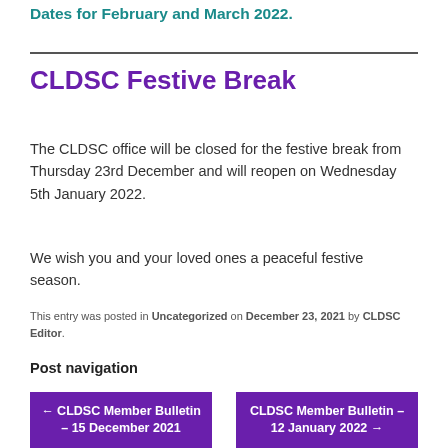Dates for February and March 2022.
CLDSC Festive Break
The CLDSC office will be closed for the festive break from Thursday 23rd December and will reopen on Wednesday 5th January 2022.
We wish you and your loved ones a peaceful festive season.
This entry was posted in Uncategorized on December 23, 2021 by CLDSC Editor.
Post navigation
← CLDSC Member Bulletin – 15 December 2021
CLDSC Member Bulletin – 12 January 2022 →